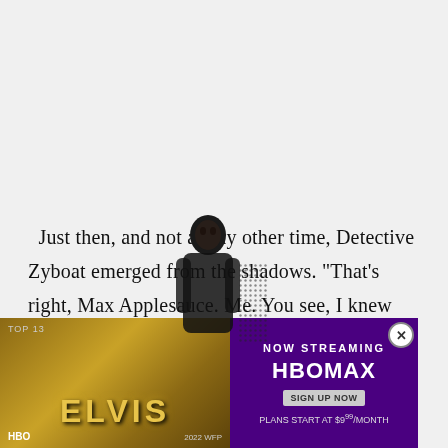Just then, and not at any other time, Detective Zyboat emerged from the shadows. "That's right, Max Applesauce. Me. You see, I knew you were innocent. But I'm a crooked cop and John J. Explosionface was paying me to arrest you for the murder of that man who died! Of murder!"
"Unfortunately," Explosionface interrupted, "Detective... arm away and... you
[Figure (photo): Advertisement overlay for the Elvis movie on HBO Max. Shows Elvis movie poster on the left with golden background and the title ELVIS, and on the right a purple HBO Max streaming advertisement reading NOW STREAMING HBOMAX SIGN UP NOW PLANS START AT $9.99/MONTH with a close button.]